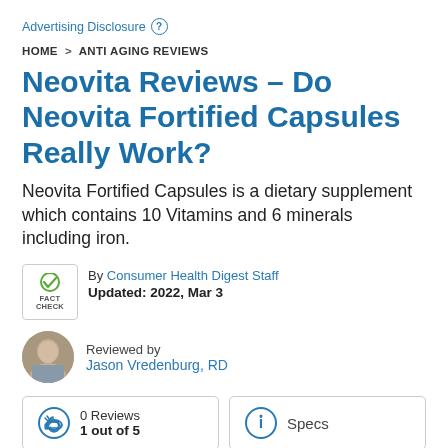Advertising Disclosure (?)
HOME > ANTI AGING REVIEWS
Neovita Reviews – Do Neovita Fortified Capsules Really Work?
Neovita Fortified Capsules is a dietary supplement which contains 10 Vitamins and 6 minerals including iron.
By Consumer Health Digest Staff
Updated: 2022, Mar 3
Reviewed by
Jason Vredenburg, RD
0 Reviews
1 out of 5
Specs